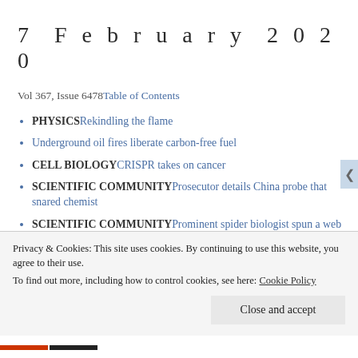7 February 2020
Vol 367, Issue 6478 Table of Contents
PHYSICSRekindling the flame
Underground oil fires liberate carbon-free fuel
CELL BIOLOGYCRISPR takes on cancer
SCIENTIFIC COMMUNITYProsecutor details China probe that snared chemist
SCIENTIFIC COMMUNITYProminent spider biologist spun a web of questionable data
Privacy & Cookies: This site uses cookies. By continuing to use this website, you agree to their use. To find out more, including how to control cookies, see here: Cookie Policy
Close and accept